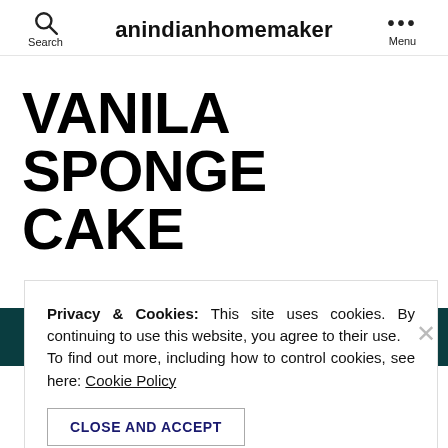anindianhomemaker
VANILA SPONGE CAKE
No Comments
Privacy & Cookies: This site uses cookies. By continuing to use this website, you agree to their use. To find out more, including how to control cookies, see here: Cookie Policy
CLOSE AND ACCEPT